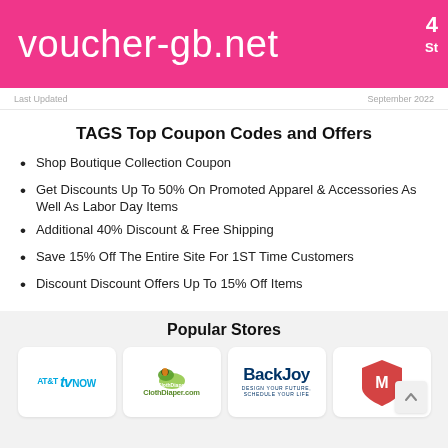voucher-gb.net
Last Updated   September 2022
TAGS Top Coupon Codes and Offers
Shop Boutique Collection Coupon
Get Discounts Up To 50% On Promoted Apparel & Accessories As Well As Labor Day Items
Additional 40% Discount & Free Shipping
Save 15% Off The Entire Site For 1ST Time Customers
Discount Discount Offers Up To 15% Off Items
Popular Stores
[Figure (logo): AT&T TV NOW logo]
[Figure (logo): ClothDiaper.com logo]
[Figure (logo): BackJoy logo]
[Figure (logo): Partial shield/crest logo]